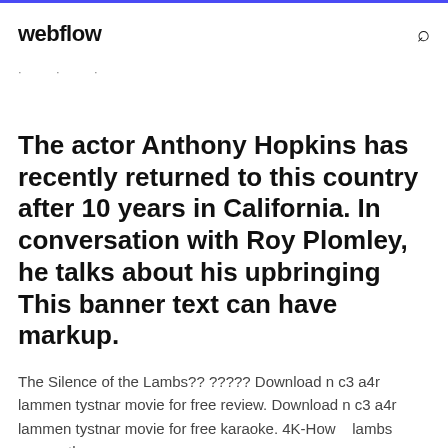webflow
· · ·
The actor Anthony Hopkins has recently returned to this country after 10 years in California. In conversation with Roy Plomley, he talks about his upbringing This banner text can have markup.
The Silence of the Lambs?? ????? Download n c3 a4r lammen tystnar movie for free review. Download n c3 a4r lammen tystnar movie for free karaoke. 4K-How   lambs          the